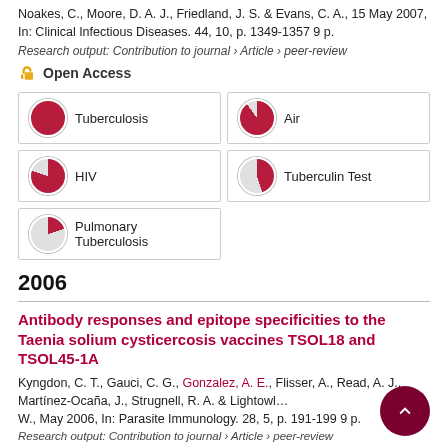Noakes, C., Moore, D. A. J., Friedland, J. S. & Evans, C. A., 15 May 2007, In: Clinical Infectious Diseases. 44, 10, p. 1349-1357 9 p.
Research output: Contribution to journal › Article › peer-review
Open Access
[Figure (infographic): Five fingerprint/keyword badges arranged in a 2-column grid showing research topics with circular percentage indicators: Tuberculosis 100%, Air 90%, HIV 80%, Tuberculin Test 45%, Pulmonary Tuberculosis 20%]
2006
Antibody responses and epitope specificities to the Taenia solium cysticercosis vaccines TSOL18 and TSOL45-1A
Kyngdon, C. T., Gauci, C. G., Gonzalez, A. E., Flisser, A., Read, A. J., Martínez-Ocaña, J., Strugnell, R. A. & Lightowlers, W., May 2006, In: Parasite Immunology. 28, 5, p. 191-199 9 p.
Research output: Contribution to journal › Article › peer-review